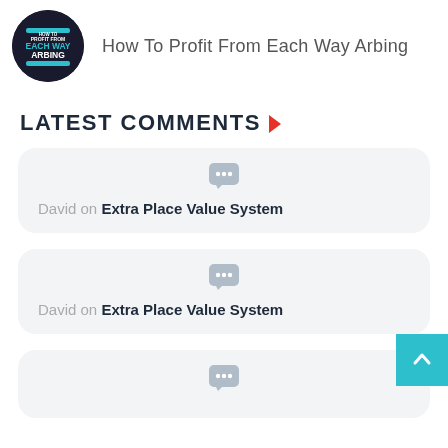How To Profit From Each Way Arbing
LATEST COMMENTS
David on Extra Place Value System
David on Extra Place Value System